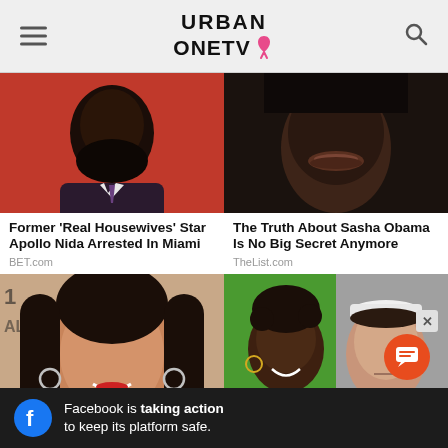URBAN ONE TV
[Figure (photo): Close-up photo of a Black man with a beard, wearing a suit, against a red background]
[Figure (photo): Close-up photo of a woman's face, dark skin, against a dark background]
Former 'Real Housewives' Star Apollo Nida Arrested In Miami
BET.com
The Truth About Sasha Obama Is No Big Secret Anymore
TheList.com
[Figure (photo): Close-up of a smiling Black woman with long hair, wearing hoop earrings, against event backdrop]
[Figure (photo): Two Black women smiling — one with short curly hair, one wearing a white cap]
Facebook is taking action to keep its platform safe.